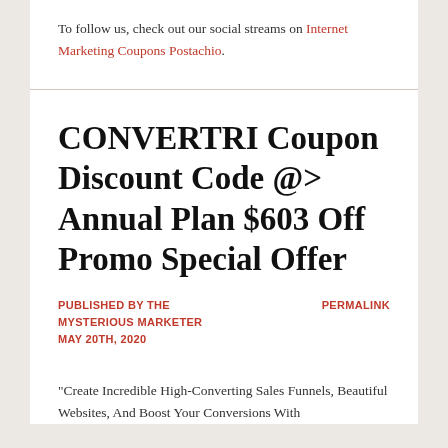To follow us, check out our social streams on Internet Marketing Coupons Postachio.
CONVERTRI Coupon Discount Code @> Annual Plan $603 Off Promo Special Offer
PUBLISHED BY THE MYSTERIOUS MARKETER MAY 20TH, 2020
PERMALINK
"Create Incredible High-Converting Sales Funnels, Beautiful Websites, And Boost Your Conversions With